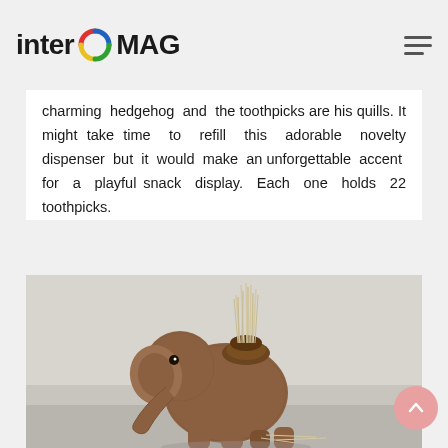inter MAG
charming hedgehog and the toothpicks are his quills. It might take time to refill this adorable novelty dispenser but it would make an unforgettable accent for a playful snack display. Each one holds 22 toothpicks.
[Figure (photo): A wooden elephant figurine serving as a toothpick holder, with toothpicks inserted in its back, photographed on a gray surface.]